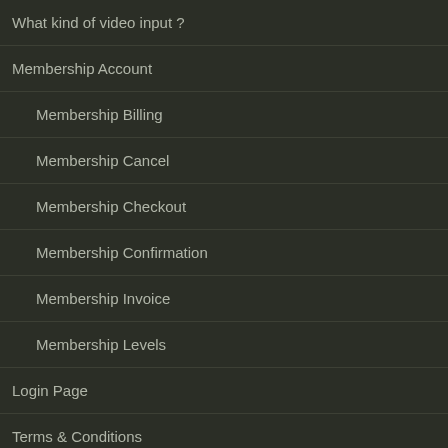What kind of video input ?
Membership Account
Membership Billing
Membership Cancel
Membership Checkout
Membership Confirmation
Membership Invoice
Membership Levels
Login Page
Terms & Conditions